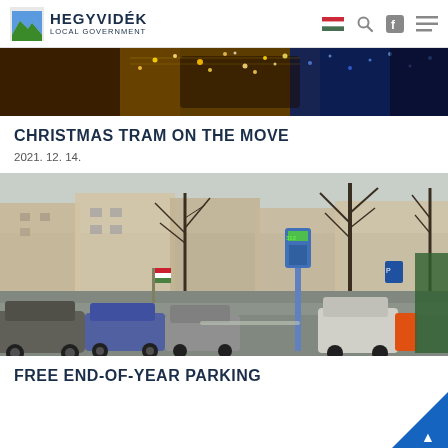HEGYVIDEK LOCAL GOVERNMENT
[Figure (photo): Banner photo of Christmas tram with decorative lights, warm golden and blue tones]
CHRISTMAS TRAM ON THE MOVE
2021. 12. 14.
[Figure (photo): Street photo showing cars parked along a city street with bare trees, buildings, Hungarian flag, and a blue parking meter in the foreground]
FREE END-OF-YEAR PARKING